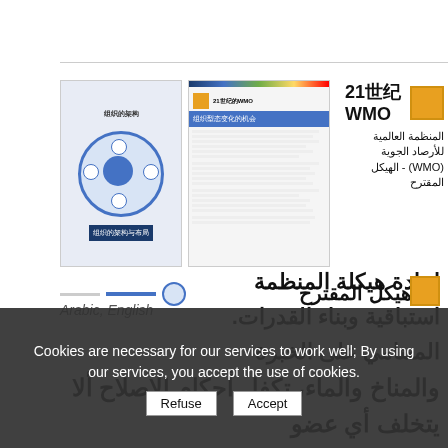[Figure (illustration): Two document thumbnails side by side: left shows a circular organizational diagram with WMO branding on blue background bar; right shows a document page with blue header bar, color gradient bar, and Chinese text content.]
21世纪WMO — المنظمة العالمية للأرصاد الجوية (WMO) - الهيكل المقترح
إعادة هيكلة المنظمة استباقية وبناء القدرات. المتنامي على الخبرة والمناخ والماء، تكفل أحكام الإصلاح ألا يتخلف أي عضو عن الركب.
Arabic, English
Cookies are necessary for our services to work well; By using our services, you accept the use of cookies.